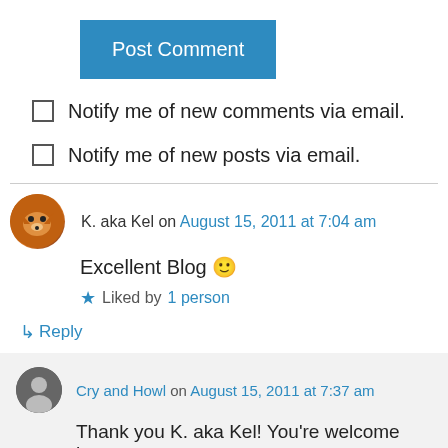[Figure (other): Blue 'Post Comment' button]
Notify me of new comments via email.
Notify me of new posts via email.
K. aka Kel on August 15, 2011 at 7:04 am
Excellent Blog 🙂
★ Liked by 1 person
↳ Reply
Cry and Howl on August 15, 2011 at 7:37 am
Thank you K. aka Kel! You're welcome here